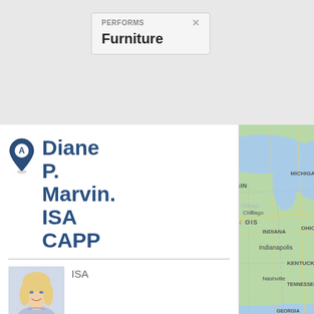PERFORMS × Furniture
[Figure (other): Map pin icon with letter A]
Diane P. Marvin. ISA CAPP
[Figure (photo): Portrait photo of a blonde woman smiling]
ISA
CAPP
CERTIFIED
Antiquities Ceramics, Collectible Decorative
[Figure (map): Geographic map showing US Midwest and East Coast region including states: Wisconsin, Michigan, Illinois, Indiana, Ohio, Missouri, Kentucky, Tennessee, Arkansas, Mississippi, Alabama, Georgia, North Carolina, South Carolina, Virginia, West Virginia, Pennsylvania and cities: Chicago, Indianapolis, Nashville, Charlotte, Atlanta, Jacksonville, Toronto]